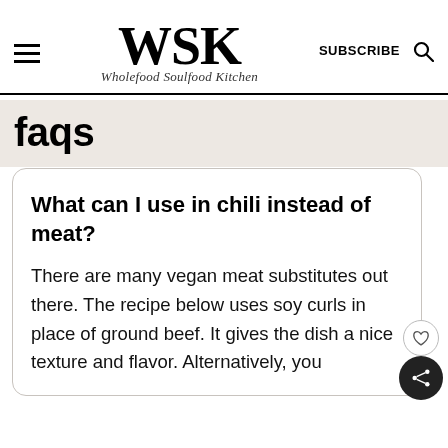WSK Wholefood Soulfood Kitchen — SUBSCRIBE
faqs
What can I use in chili instead of meat?
There are many vegan meat substitutes out there. The recipe below uses soy curls in place of ground beef. It gives the dish a nice texture and flavor. Alternatively, you